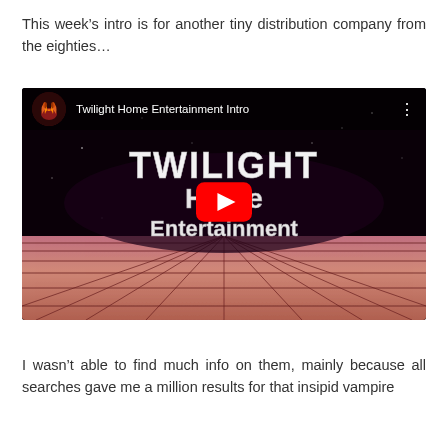This week's intro is for another tiny distribution company from the eighties…
[Figure (screenshot): YouTube video embed showing 'Twilight Home Entertainment Intro' — a retro 1980s video title card with stylized chrome/disco text reading 'Twilight Home Entertainment' over a pink/mauve tiled floor grid on a dark background. A YouTube play button is visible in the center. The video thumbnail shows the YouTube channel icon (orange flame/wing motif avatar) and the video title in the top bar.]
I wasn't able to find much info on them, mainly because all searches gave me a million results for that insipid vampire